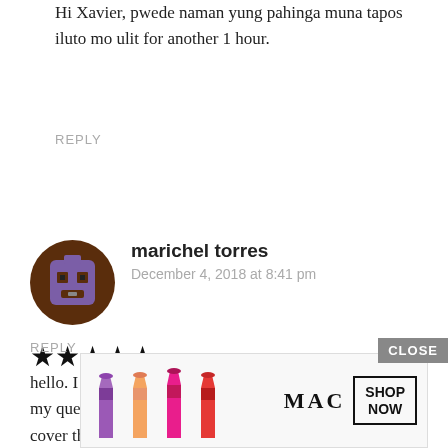Hi Xavier, pwede naman yung pahinga muna tapos iluto mo ulit for another 1 hour.
REPLY
[Figure (illustration): User avatar for marichel torres - pixel art style face with purple and brown colors]
marichel torres
December 4, 2018 at 8:41 pm
★★★★★
hello. I will try this recipe looks so delicious and crispy. my question is.. do I need to wrap the meat in foil or just cover the roasting pan? thank
CLOSE
[Figure (photo): MAC cosmetics advertisement showing lipsticks in purple, pink, and red colors with SHOP NOW button]
REPLY